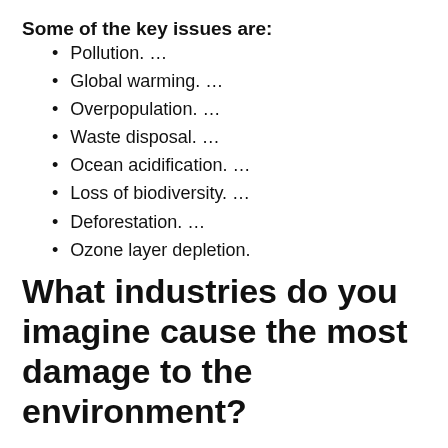Some of the key issues are:
Pollution. …
Global warming. …
Overpopulation. …
Waste disposal. …
Ocean acidification. …
Loss of biodiversity. …
Deforestation. …
Ozone layer depletion.
What industries do you imagine cause the most damage to the environment?
The Top 10 Polluting Industries In The World